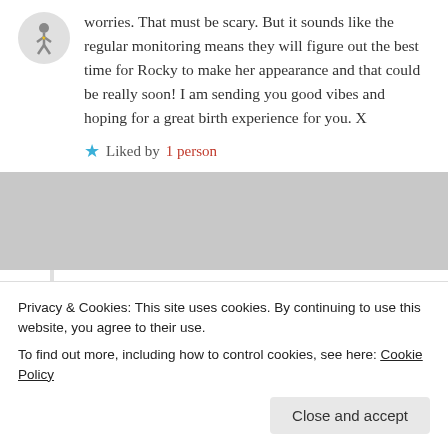worries. That must be scary. But it sounds like the regular monitoring means they will figure out the best time for Rocky to make her appearance and that could be really soon! I am sending you good vibes and hoping for a great birth experience for you. X
Liked by 1 person
THEGREATPUDDINGCLUBHUNT
December 9, 2016 at 2:55 pm
REPLY →
Thank you – I spoke with our Doulas last...
Privacy & Cookies: This site uses cookies. By continuing to use this website, you agree to their use.
To find out more, including how to control cookies, see here: Cookie Policy
Close and accept